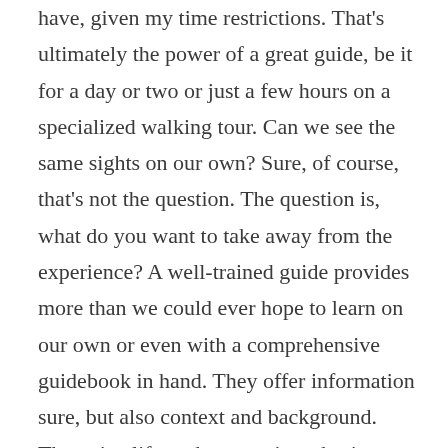have, given my time restrictions. That's ultimately the power of a great guide, be it for a day or two or just a few hours on a specialized walking tour. Can we see the same sights on our own? Sure, of course, that's not the question. The question is, what do you want to take away from the experience? A well-trained guide provides more than we could ever hope to learn on our own or even with a comprehensive guidebook in hand. They offer information sure, but also context and background. They give life to the sometimes boring facts on a page and make destinations come alive. That's why a great guide is almost always a part of my travel experience and why it wasn't just nice, it was essential for my first time exploring the mega-city of Beijing.